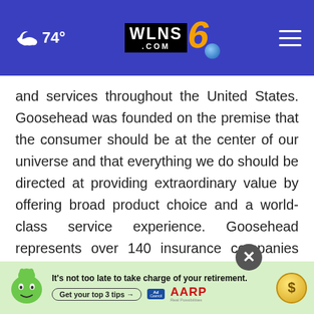74° WLNS6.com
and services throughout the United States. Goosehead was founded on the premise that the consumer should be at the center of our universe and that everything we do should be directed at providing extraordinary value by offering broad product choice and a world-class service experience. Goosehead represents over 140 insurance companies that underwrite personal lines and small commercial lines risks, and [ad obscures content] of 15 corpo[ad obscures content]ating
[Figure (screenshot): AARP advertisement banner: 'It's not too late to take charge of your retirement. Get your top 3 tips →' with Ad Council badge, AARP logo, and coin graphic. Green background with cartoon face character.]